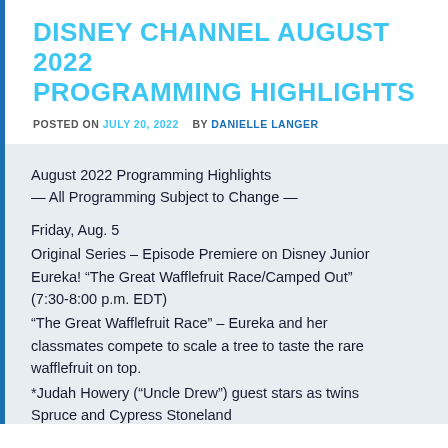DISNEY CHANNEL AUGUST 2022 PROGRAMMING HIGHLIGHTS
POSTED ON JULY 20, 2022   BY DANIELLE LANGER
August 2022 Programming Highlights
— All Programming Subject to Change —
Friday, Aug. 5
Original Series – Episode Premiere on Disney Junior
Eureka! "The Great Wafflefruit Race/Camped Out" (7:30-8:00 p.m. EDT)
"The Great Wafflefruit Race" – Eureka and her classmates compete to scale a tree to taste the rare wafflefruit on top.
*Judah Howery ("Uncle Drew") guest stars as twins Spruce and Cypress Stoneland
"Camped Out" – Everyone except Eureka gets homesick